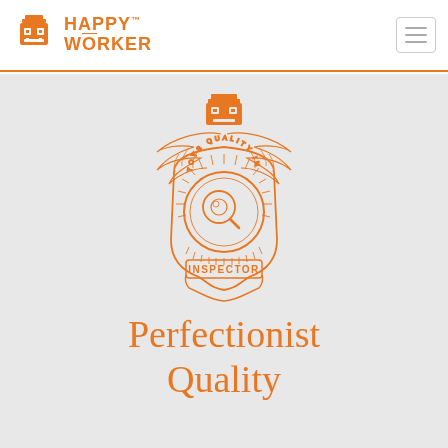Happy Worker
[Figure (logo): Happy Worker robot face logo icon in orange, square pixelated robot head with smile]
[Figure (illustration): Orange line-art police/inspector badge with wings, a magnifying glass in center, 'TOYS QUALITY INSPECTOR' text around the circle, and 'INSPECTOR' banner at bottom. A Happy Worker robot sits atop the badge.]
Perfectionist Quality